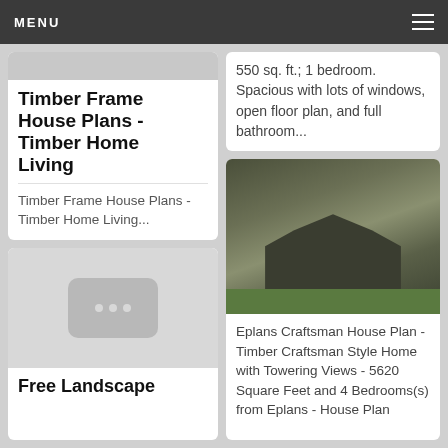MENU
Timber Frame House Plans - Timber Home Living
Timber Frame House Plans - Timber Home Living...
[Figure (photo): Placeholder image with three dots for Free Landscape card]
Free Landscape
550 sq. ft.; 1 bedroom. Spacious with lots of windows, open floor plan, and full bathroom...
[Figure (photo): Photo of a large craftsman/timber style home with dark roof, stone exterior, and arched windows at dusk]
Eplans Craftsman House Plan - Timber Craftsman Style Home with Towering Views - 5620 Square Feet and 4 Bedrooms(s) from Eplans - House Plan